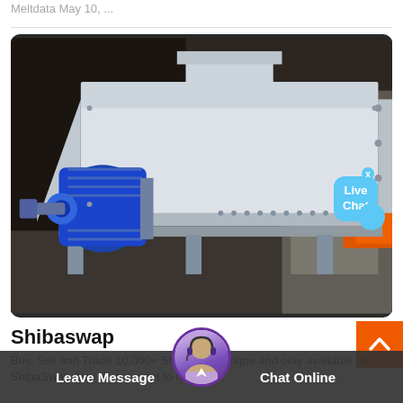Meltdata May 10, ...
[Figure (photo): Large white industrial machine (shredder or mixer) with a blue electric motor, photographed in a dark factory setting. A live chat bubble overlay appears in the upper right of the image.]
Shibaswap
Buy, Sell and Trade 10,000+ Shiboshis. Unique and only available on ShibaSwap. You do not want to miss this.
Leave Message
Chat Online